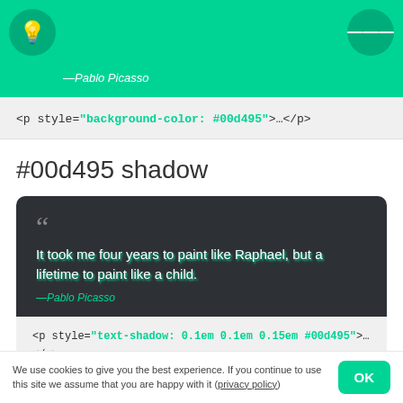—Pablo Picasso
<p style="background-color: #00d495">…</p>
#00d495 shadow
It took me four years to paint like Raphael, but a lifetime to paint like a child.
—Pablo Picasso
<p style="text-shadow: 0.1em 0.1em 0.15em #00d495">…
</p>
We use cookies to give you the best experience. If you continue to use this site we assume that you are happy with it (privacy policy)